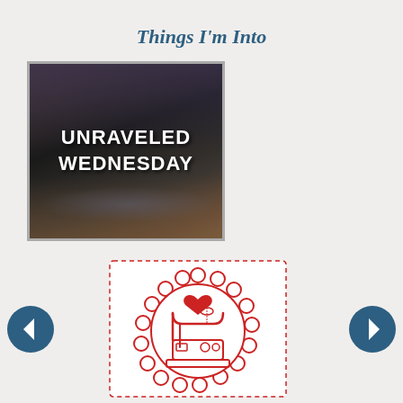Things I'm Into
[Figure (photo): Photo of dark yarn/wool with text overlay reading 'Unraveled Wednesday' in white uppercase font on dark background]
[Figure (illustration): Red line art illustration of a sewing machine inside a decorative circular badge with scalloped edges and a heart, on a card with dashed red border]
[Figure (other): Left navigation arrow button - dark blue circle with white left-pointing arrow]
[Figure (other): Right navigation arrow button - dark blue circle with white right-pointing arrow]